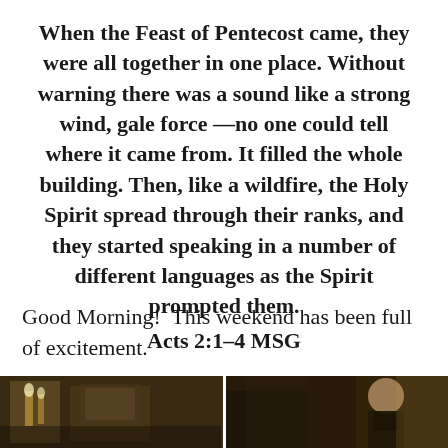When the Feast of Pentecost came, they were all together in one place. Without warning there was a sound like a strong wind, gale force—no one could tell where it came from. It filled the whole building. Then, like a wildfire, the Holy Spirit spread through their ranks, and they started speaking in a number of different languages as the Spirit prompted them. Acts 2:1-4 MSG
Good Morning!  This weekend has been full of excitement.
[Figure (photo): Two side-by-side photographs partially visible at the bottom of the page. Left photo appears to show an ornate interior room. Right photo appears to show a person (possibly Prince Harry) in a suit.]